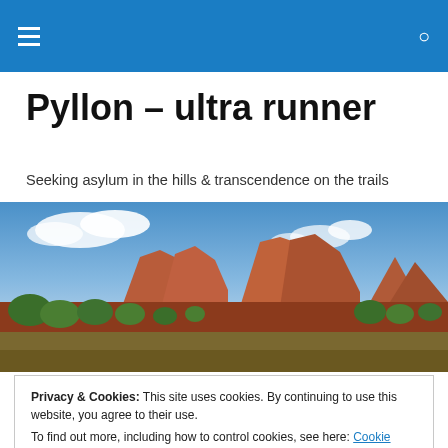Pyllon – ultra runner [navigation header with hamburger menu and search icon]
Pyllon – ultra runner
Seeking asylum in the hills & transcendence on the trails
[Figure (photo): Panoramic photo of red rock canyon formations with blue sky and clouds, green vegetation in foreground — Sedona-style landscape]
Privacy & Cookies: This site uses cookies. By continuing to use this website, you agree to their use.
To find out more, including how to control cookies, see here: Cookie Policy
Close and accept